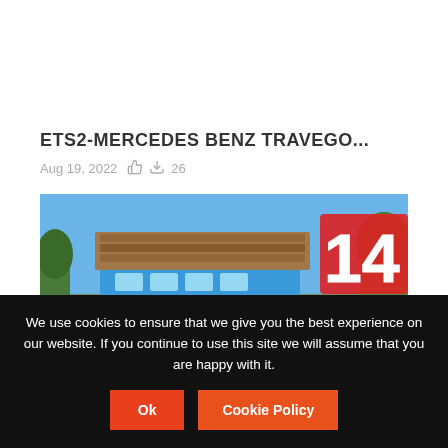ETS2-MERCEDES BENZ TRAVEGO...
Aug 19, 2022  👍  ⬇ 26
[Figure (photo): Screenshot of a truck driving game (ETS2) showing a blue Mercedes Benz Travego bus carrying a large timber load on a highway with trees in the background and a large '14' sign visible.]
We use cookies to ensure that we give you the best experience on our website. If you continue to use this site we will assume that you are happy with it.